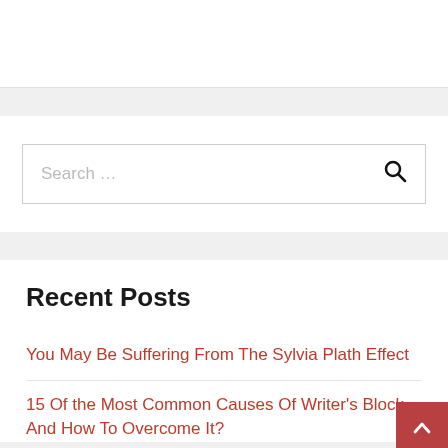[Figure (other): White content box top area (partial, cut off at top of page)]
Search ...
Recent Posts
You May Be Suffering From The Sylvia Plath Effect
15 Of the Most Common Causes Of Writer's Block – And How To Overcome It?